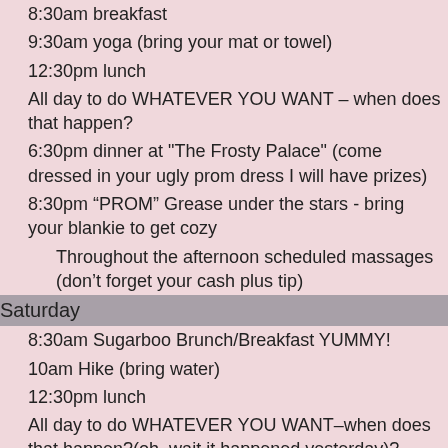8:30am breakfast
9:30am yoga (bring your mat or towel)
12:30pm lunch
All day to do WHATEVER YOU WANT – when does that happen?
6:30pm dinner at "The Frosty Palace" (come dressed in your ugly prom dress I will have prizes)
8:30pm “PROM” Grease under the stars - bring your blankie to get cozy
Throughout the afternoon scheduled massages (don't forget your cash plus tip)
Saturday
8:30am Sugarboo Brunch/Breakfast YUMMY!
10am Hike (bring water)
12:30pm lunch
All day to do WHATEVER YOU WANT–when does that happen?(oh, wait it happened yesterday)?
6:30pm Pajama Pizza Passion Party (wear your PJs to dinner)
8pm moonshine tasting - Get Your Shine On!
8:30pm PARTY PARTY – bring your checkbook and or credit cards to buy FUN stuff!
Throughout the afternoon scheduled massages (don't